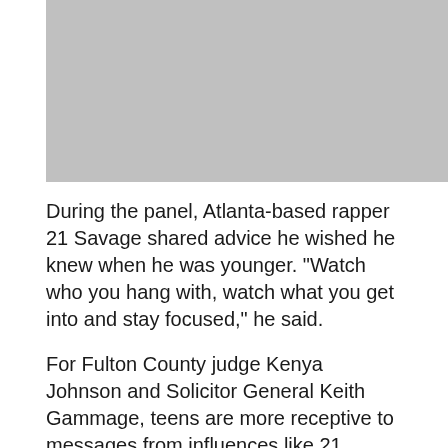[Figure (photo): Gray placeholder image, portrait/landscape orientation]
During the panel, Atlanta-based rapper 21 Savage shared advice he wished he knew when he was younger. “Watch who you hang with, watch what you get into and stay focused,” he said.
For Fulton County judge Kenya Johnson and Solicitor General Keith Gammage, teens are more receptive to messages from influences like 21 Savage.
“I think it’s super powerful today to have 21 Savage, because not a lot of artists come back at the rate that he comes back,” Abdulahi said. “500 students are seeing him today, and...their lives are